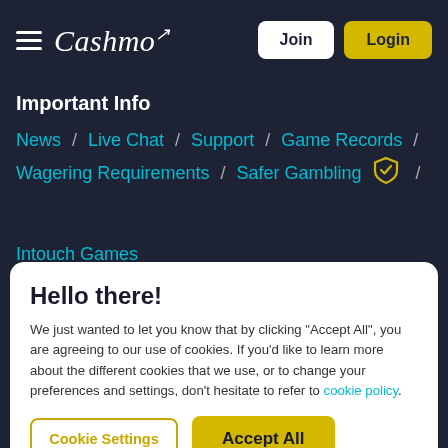Cashmo — Join | Login
Important Info
News / Live Chat / Support / Game Records / Wagering Requirements / Safer Gambling /
Intouch Games
Hello there!
We just wanted to let you know that by clicking "Accept All", you are agreeing to our use of cookies. If you'd like to learn more about the different cookies that we use, or to change your preferences and settings, don't hesitate to refer to cookie policy.
Cookie Settings | Accept All